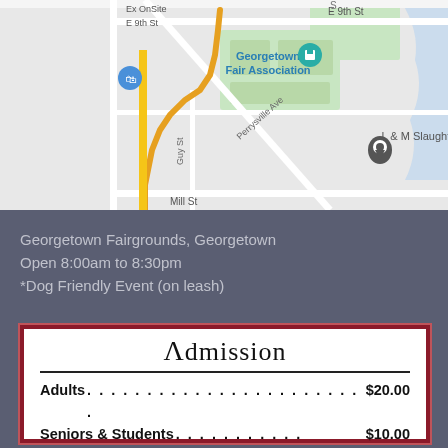[Figure (map): Google Maps screenshot showing Georgetown Fairgrounds area, Georgetown. Streets visible include E 9th St, Perrysville Ave, Guy St, Mill St. Landmarks shown: Georgetown Fair Association, L & M Slaughterhouse, Ex OnSite. Map pins and route line visible.]
Georgetown Fairgrounds, Georgetown
Open 8:00am to 8:30pm
*Dog Friendly Event (on leash)
| Category | Price |
| --- | --- |
| Adults .............................. | $20.00 |
| Seniors & Students ........... | $10.00 |
| 12 & under with parent ......... | FREE |